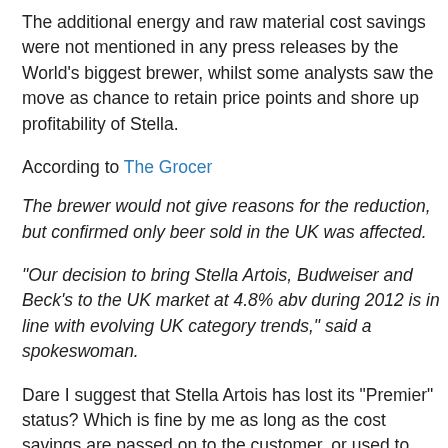The additional energy and raw material cost savings were not mentioned in any press releases by the World's biggest brewer, whilst some analysts saw the move as chance to retain price points and shore up profitability of Stella.
According to The Grocer
The brewer would not give reasons for the reduction, but confirmed only beer sold in the UK was affected.
“Our decision to bring Stella Artois, Budweiser and Beck’s to the UK market at 4.8% abv during 2012 is in line with evolving UK category trends,” said a spokeswoman.
Dare I suggest that Stella Artois has lost its “Premier” status? Which is fine by me as long as the cost savings are passed on to the customer, or used to improve the